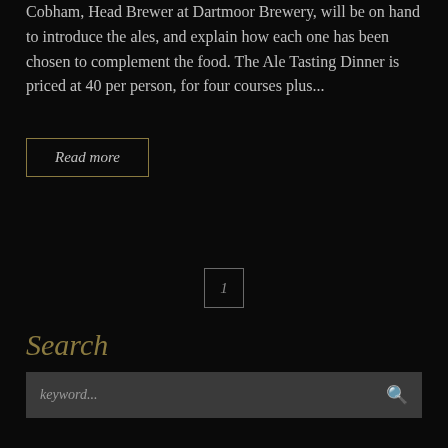Cobham, Head Brewer at Dartmoor Brewery, will be on hand to introduce the ales, and explain how each one has been chosen to complement the food. The Ale Tasting Dinner is priced at £40 per person, for four courses plus...
Read more
1
Search
keyword...